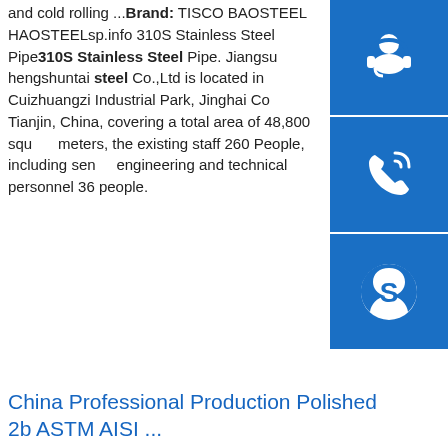and cold rolling ...Brand: TISCO BAOSTEEL HAOSTEELsp.info 310S Stainless Steel Pipe310S Stainless Steel Pipe. Jiangsu hengshuntai steel Co.,Ltd is located in Cuizhuangzi Industrial Park, Jinghai County Tianjin, China, covering a total area of 48,800 square meters, the existing staff 260 People, including senior engineering and technical personnel 36 people.
[Figure (other): Three blue square icon buttons on the right sidebar: headset/customer service icon, phone icon, and Skype icon]
China Professional Production Polished 2b ASTM AISI ...
China Professional Production Polished Mirror 2b ASTM AISI En 304 304L 201 309S 310S 316L 317L Sturdy Hot Roll Stainless Steel Sheet for Construction, Find details about China Stainless Steel Sheet, Stainless Steel Plate from Professional Production Polished Mirror 2b ASTM AISI En
[Figure (photo): Photo of stacked stainless steel sheets/plates with golden/orange tint outdoors]